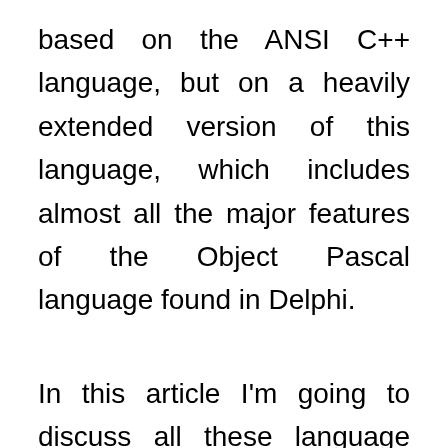based on the ANSI C++ language, but on a heavily extended version of this language, which includes almost all the major features of the Object Pascal language found in Delphi.
In this article I'm going to discuss all these language extensions in details, providing some background for programmers with no